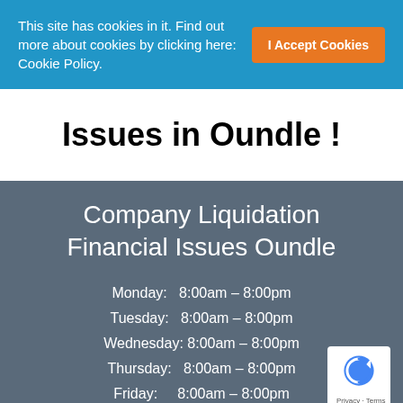This site has cookies in it. Find out more about cookies by clicking here: Cookie Policy.
I Accept Cookies
Issues in Oundle !
Company Liquidation Financial Issues Oundle
Monday: 8:00am – 8:00pm
Tuesday: 8:00am – 8:00pm
Wednesday: 8:00am – 8:00pm
Thursday: 8:00am – 8:00pm
Friday: 8:00am – 8:00pm